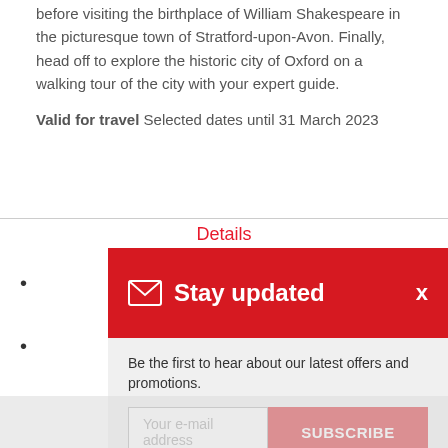before visiting the birthplace of William Shakespeare in the picturesque town of Stratford-upon-Avon. Finally, head off to explore the historic city of Oxford on a walking tour of the city with your expert guide.
Valid for travel Selected dates until 31 March 2023
Details
[Figure (screenshot): A red modal popup titled 'Stay updated' with an envelope icon and close button X. Below is a light grey panel with text 'Be the first to hear about our latest offers and promotions.' and an email input field with placeholder 'Your e-mail address' next to a red SUBSCRIBE button. Below that is 'View our Privacy Policy' with Privacy Policy in red.]